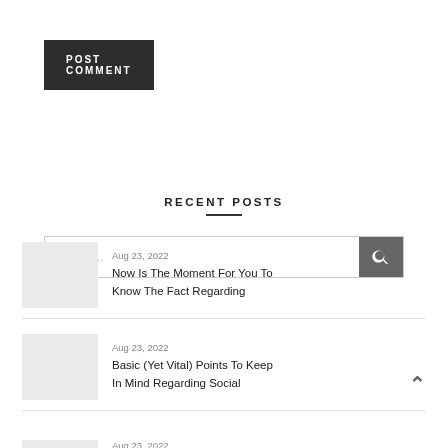POST COMMENT
[Figure (screenshot): Search bar with placeholder 'Search...' and a dark grey search icon button on the right]
RECENT POSTS
Aug 23, 2022 — Now Is The Moment For You To Know The Fact Regarding
Aug 23, 2022 — Basic (Yet Vital) Points To Keep In Mind Regarding Social
Aug 23, 2022